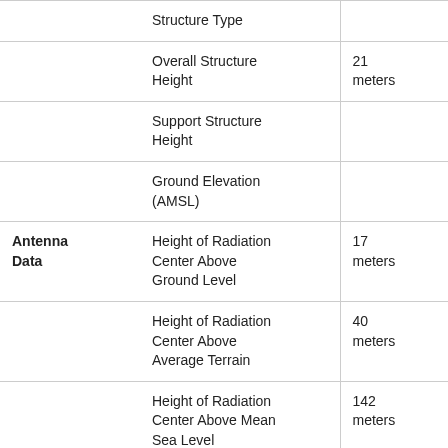| Category | Field | Value |
| --- | --- | --- |
|  | Structure Type |  |
|  | Overall Structure Height | 21 meters |
|  | Support Structure Height |  |
|  | Ground Elevation (AMSL) |  |
| Antenna Data | Height of Radiation Center Above Ground Level | 17 meters |
|  | Height of Radiation Center Above Average Terrain | 40 meters |
|  | Height of Radiation Center Above Mean Sea Level | 142 meters |
|  | Effective Radiated | 1.2 kW |